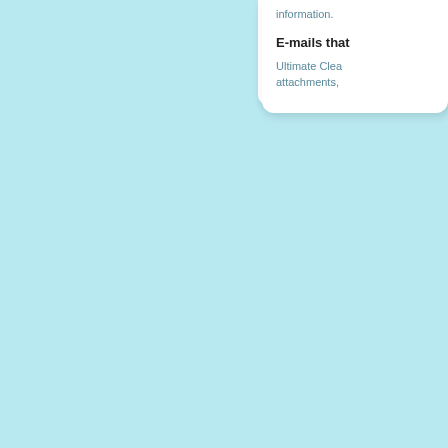information.
E-mails that
Ultimate Clea attachments,
TOP1
GlobalUp
MyWebSe
Linkury
SearchPa
Tencent.C
MultiPlug
BaiduSea
Iminent
DoSearch